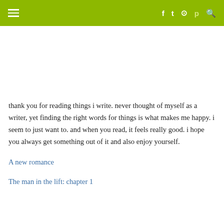≡  f  t  ⊙  p  🔍
thank you for reading things i write. never thought of myself as a writer, yet finding the right words for things is what makes me happy. i seem to just want to. and when you read, it feels really good. i hope you always get something out of it and also enjoy yourself.
A new romance
The man in the lift: chapter 1